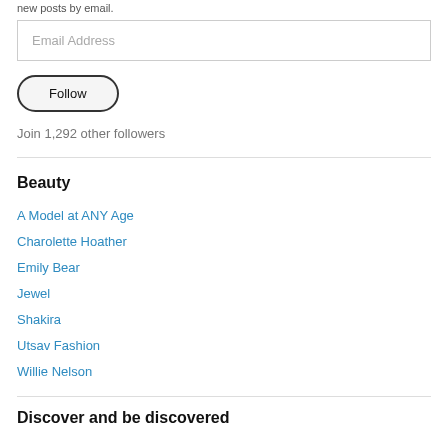new posts by email.
Email Address
Follow
Join 1,292 other followers
Beauty
A Model at ANY Age
Charolette Hoather
Emily Bear
Jewel
Shakira
Utsav Fashion
Willie Nelson
Discover and be discovered